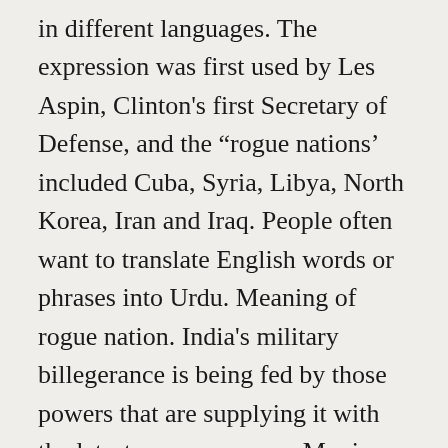in different languages. The expression was first used by Les Aspin, Clinton's first Secretary of Defense, and the “rogue nations’ included Cuba, Syria, Libya, North Korea, Iran and Iraq. People often want to translate English words or phrases into Urdu. Meaning of rogue nation. India's military billegerance is being fed by those powers that are supplying it with the latest weaponry, says Munir Akram. Dec 19, 2020. The US may very well be in bed with a rogue nation but first one must know the meaning of the expression “rogue nation”. The word Frankly speaking, China has to be put in the category of a rogue state. transitive v. To destroy (plants that do not come up to a required standard). Rogue is